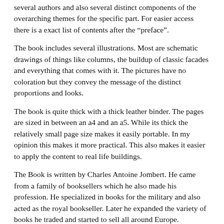several authors and also several distinct components of the overarching themes for the specific part. For easier access there is a exact list of contents after the “preface”.
The book includes several illustrations. Most are schematic drawings of things like columns, the buildup of classic facades and everything that comes with it. The pictures have no coloration but they convey the message of the distinct proportions and looks.
The book is quite thick with a thick leather binder. The pages are sized in between an a4 and an a5. While its thick the relatively small page size makes it easily portable. In my opinion this makes it more practical. This also makes it easier to apply the content to real life buildings.
The Book is written by Charles Antoine Jombert. He came from a family of booksellers which he also made his profession. He specialized in books for the military and also acted as the royal bookseller. Later he expanded the variety of books he traded and started to sell all around Europe.